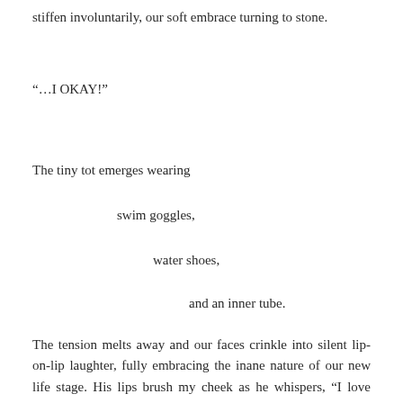stiffen involuntarily, our soft embrace turning to stone.
“…I OKAY!”
The tiny tot emerges wearing
swim goggles,
water shoes,
and an inner tube.
The tension melts away and our faces crinkle into silent lip-on-lip laughter, fully embracing the inane nature of our new life stage. His lips brush my cheek as he whispers, “I love doing this with you.”